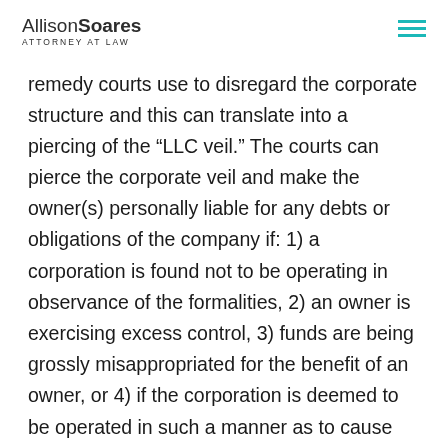Allison Soares ATTORNEY AT LAW
remedy courts use to disregard the corporate structure and this can translate into a piercing of the “LLC veil.” The courts can pierce the corporate veil and make the owner(s) personally liable for any debts or obligations of the company if: 1) a corporation is found not to be operating in observance of the formalities, 2) an owner is exercising excess control, 3) funds are being grossly misappropriated for the benefit of an owner, or 4) if the corporation is deemed to be operated in such a manner as to cause harm to another entity.